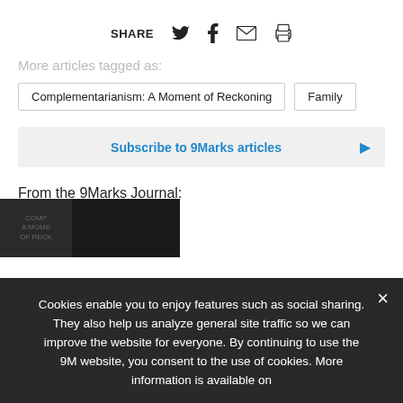SHARE
More articles tagged as:
Complementarianism: A Moment of Reckoning
Family
Subscribe to 9Marks articles
From the 9Marks Journal:
[Figure (photo): Dark book cover thumbnail for 9Marks Journal]
Cookies enable you to enjoy features such as social sharing. They also help us analyze general site traffic so we can improve the website for everyone. By continuing to use the 9M website, you consent to the use of cookies. More information is available on